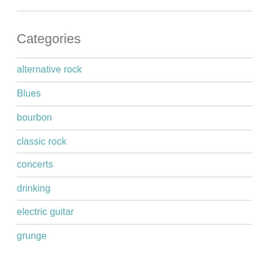Categories
alternative rock
Blues
bourbon
classic rock
concerts
drinking
electric guitar
grunge